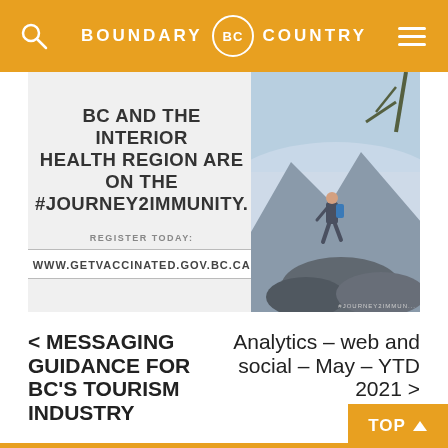BOUNDARY BC COUNTRY
[Figure (infographic): BC and the Interior Health Region are on the #Journey2Immunity. Register today: www.getvaccinated.gov.bc.ca. Left side shows text on grey background, right side shows a hiker on a rocky cliff with lake/mountain background.]
< MESSAGING GUIDANCE FOR BC'S TOURISM INDUSTRY
Analytics – web and social – May – YTD 2021 >
TOP